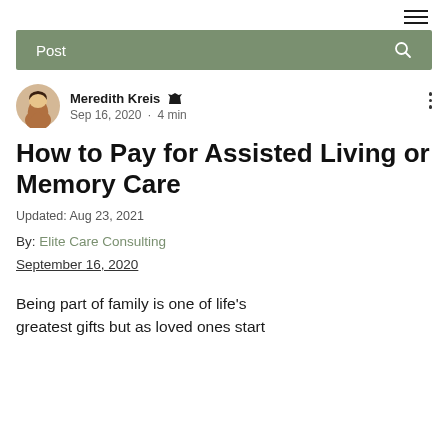≡
Post
Meredith Kreis  Admin
Sep 16, 2020 · 4 min
How to Pay for Assisted Living or Memory Care
Updated: Aug 23, 2021
By: Elite Care Consulting
September 16, 2020
Being part of family is one of life's greatest gifts but as loved ones start